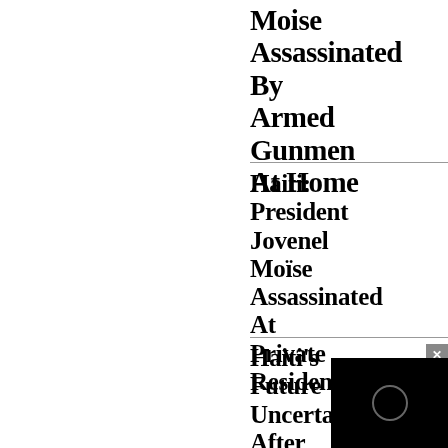Moise Assassinated By Armed Gunmen At Home
Haiti: President Jovenel Moïse Assassinated At Private Residence
Haiti's Future Uncertain After
[Figure (screenshot): Video player thumbnail showing a dark/black screen with a circular play icon, with a close button (×) in the top right corner]